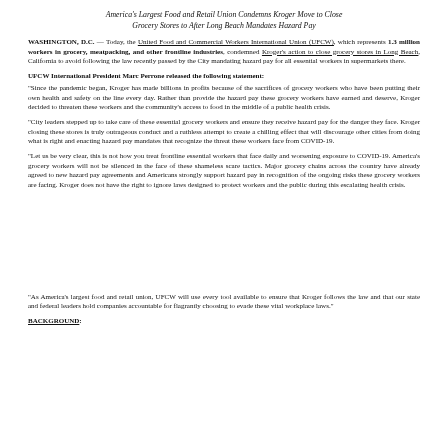America's Largest Food and Retail Union Condemns Kroger Move to Close Grocery Stores to After Long Beach Mandates Hazard Pay
WASHINGTON, D.C. — Today, the United Food and Commercial Workers International Union (UFCW), which represents 1.3 million workers in grocery, meatpacking, and other frontline industries, condemned Kroger's action to close grocery stores in Long Beach, California to avoid following the law recently passed by the City mandating hazard pay for all essential workers in supermarkets there.
UFCW International President Marc Perrone released the following statement:
"Since the pandemic began, Kroger has made billions in profits because of the sacrifices of grocery workers who have been putting their own health and safety on the line every day. Rather than provide the hazard pay these grocery workers have earned and deserve, Kroger decided to threaten these workers and the community's access to food in the middle of a public health crisis.
"City leaders stepped up to take care of these essential grocery workers and ensure they receive hazard pay for the danger they face. Kroger closing these stores is truly outrageous conduct and a ruthless attempt to create a chilling effect that will discourage other cities from doing what is right and enacting hazard pay mandates that recognize the threat these workers face from COVID-19.
"Let us be very clear, this is not how you treat frontline essential workers that face daily and worsening exposure to COVID-19. America's grocery workers will not be silenced in the face of these shameless scare tactics. Major grocery chains across the country have already agreed to new hazard pay agreements and Americans strongly support hazard pay in recognition of the ongoing risks these grocery workers are facing. Kroger does not have the right to ignore laws designed to protect workers and the public during this escalating health crisis.
"As America's largest food and retail union, UFCW will use every tool available to ensure that Kroger follows the law and that our state and federal leaders hold companies accountable for flagrantly choosing to evade these vital workplace laws."
BACKGROUND: